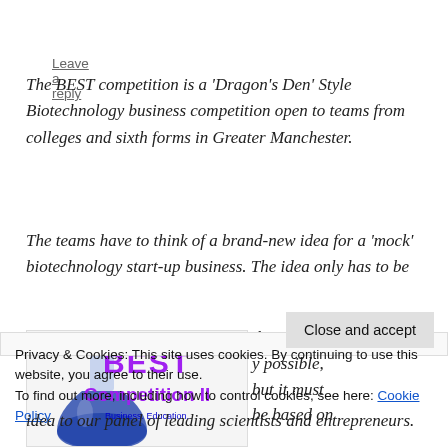Leave a reply
The BEST competition is a ‘Dragon’s Den’ Style Biotechnology business competition open to teams from colleges and sixth forms in Greater Manchester.
The teams have to think of a brand-new idea for a ‘mock’ biotechnology start-up business. The idea only has to be
[Figure (illustration): BEST Competition II logo with blue flask graphic and text 'Business. Education. Science. Technology.']
theoretically possible, but it must be based on
Privacy & Cookies: This site uses cookies. By continuing to use this website, you agree to their use. To find out more, including how to control cookies, see here: Cookie Policy
idea to our panel of leading scientists and entrepreneurs.